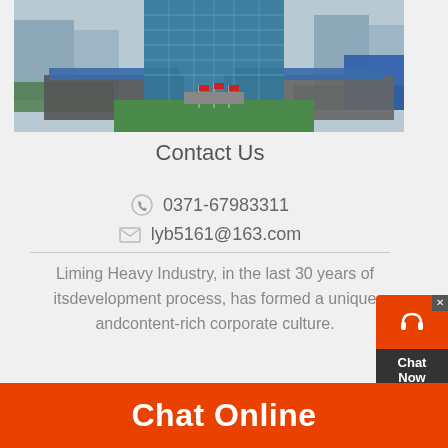[Figure (photo): Aerial/perspective photo of Liming Heavy Industry corporate headquarters building — a tall glass tower with surrounding lower buildings, green lawn, and construction cranes in background.]
Contact Us
0371-67983311
lyb5161@163.com
Liming Heavy Industry, in the last 30 years of itsdevelopment process, has formed a unique andcontent-rich corporate culture.
HOT PRODUCTS
Chat Online
[Figure (other): Chat Now widget popup in upper-right corner with headset icon on red background and 'Chat Now' text on dark background.]